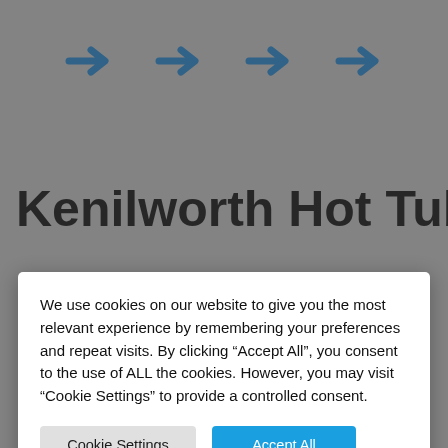[Figure (screenshot): Website background showing navigation arrows, page title 'Kenilworth Hot Tubs is', search bar, blue footer with social icons (Facebook, Google, Instagram), and a grey strip at bottom]
We use cookies on our website to give you the most relevant experience by remembering your preferences and repeat visits. By clicking “Accept All”, you consent to the use of ALL the cookies. However, you may visit “Cookie Settings” to provide a controlled consent.
Cookie Settings
Accept All